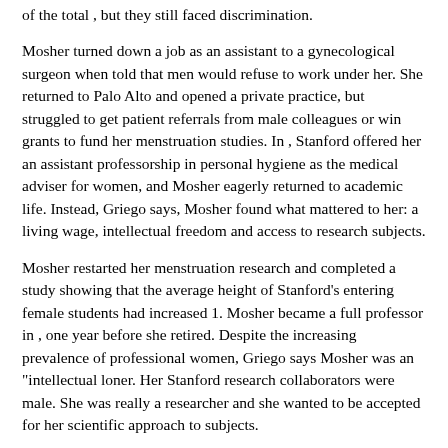of the total , but they still faced discrimination.
Mosher turned down a job as an assistant to a gynecological surgeon when told that men would refuse to work under her. She returned to Palo Alto and opened a private practice, but struggled to get patient referrals from male colleagues or win grants to fund her menstruation studies. In , Stanford offered her an assistant professorship in personal hygiene as the medical adviser for women, and Mosher eagerly returned to academic life. Instead, Griego says, Mosher found what mattered to her: a living wage, intellectual freedom and access to research subjects.
Mosher restarted her menstruation research and completed a study showing that the average height of Stanford's entering female students had increased 1. Mosher became a full professor in , one year before she retired. Despite the increasing prevalence of professional women, Griego says Mosher was an "intellectual loner. Her Stanford research collaborators were male. She was really a researcher and she wanted to be accepted for her scientific approach to subjects.
She cut an odd figure on campus, Griego says, in her habitual "mannish suit. Mosher never married and had few close relationships, although her mother lived with her on campus. Mosher felt this anomie deeply. A diary entry from laments: "I am finding out gradually why I am so lonely. The only things I care